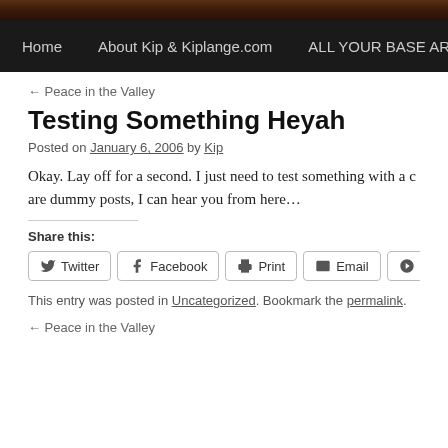Home | About Kip & Kiplange.com | ALL YOUR BASE ARE BELON
← Peace in the Valley
Testing Something Heyah
Posted on January 6, 2006 by Kip
Okay. Lay off for a second. I just need to test something with a c are dummy posts, I can hear you from here…
Share this:
Twitter Facebook Print Email Pinterest
This entry was posted in Uncategorized. Bookmark the permalink.
← Peace in the Valley